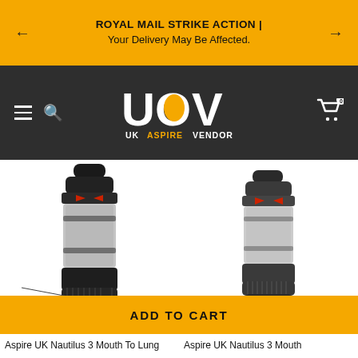ROYAL MAIL STRIKE ACTION | Your Delivery May Be Affected.
[Figure (logo): UK Aspire Vendor logo - UAV letters with text UK ASPIRE VENDOR below]
[Figure (photo): Two Aspire UK Nautilus 3 Mouth To Lung Tank devices side by side - black and gunmetal grey coloured vape tanks with clear glass sections and red arrow buttons]
ADD TO CART
Aspire UK Nautilus 3 Mouth To Lung Tank - Black variant (left) and Aspire UK Nautilus 3 Mouth To Lung Tank - Grey variant (right)